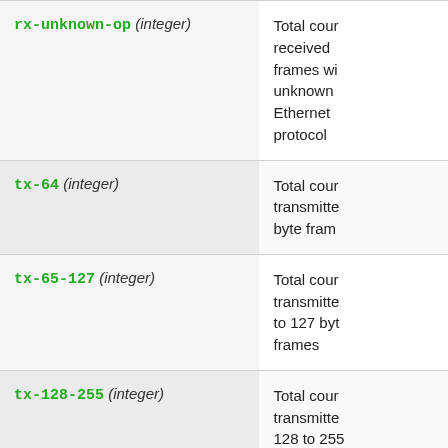| Parameter | Description |
| --- | --- |
| rx-unknown-op (integer) | Total cour received frames with unknown Ethernet protocol |
| tx-64 (integer) | Total cour transmitted 64 byte frames |
| tx-65-127 (integer) | Total cour transmitted 65 to 127 byte frames |
| tx-128-255 (integer) | Total cour transmitted 128 to 255 byte frames |
| tx-256-511 (integer) | Total cour transmitted 256 to 511 |